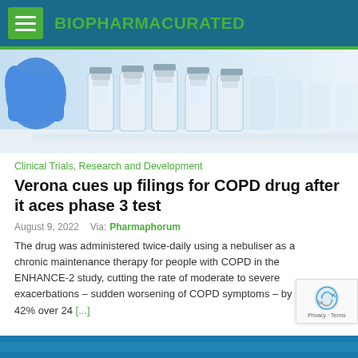BIOPHARMACURATED
[Figure (photo): Laboratory vials/bottles being handled by a gloved hand in a clinical/pharmaceutical setting]
Clinical Trials, Research and Development
Verona cues up filings for COPD drug after it aces phase 3 test
August 9, 2022    Via: Pharmaphorum
The drug was administered twice-daily using a nebuliser as a chronic maintenance therapy for people with COPD in the ENHANCE-2 study, cutting the rate of moderate to severe exacerbations – sudden worsening of COPD symptoms – by 42% over 24 [...]